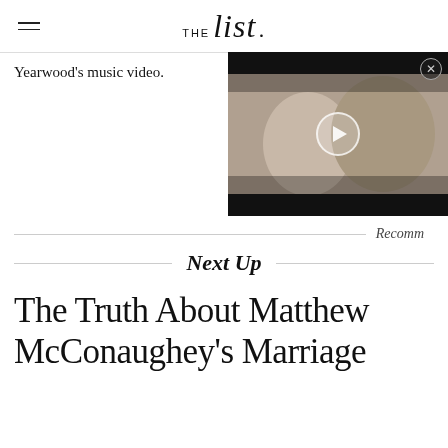THE list
Yearwood's music video.
[Figure (photo): Video thumbnail showing a man and woman (royal couple - Princess Diana and Prince Charles) with black bars top and bottom, and a play button overlay]
Recomm
Next Up
The Truth About Matthew McConaughey's Marriage